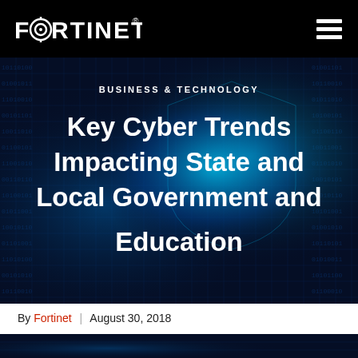FORTINET [logo] | navigation menu
[Figure (photo): Dark blue digital/cyber background with glowing circuit board and binary code patterns, with text overlay: BUSINESS & TECHNOLOGY and article title]
BUSINESS & TECHNOLOGY
Key Cyber Trends Impacting State and Local Government and Education
By Fortinet | August 30, 2018
[Figure (photo): Dark blue cyber/technology image strip at bottom of page]